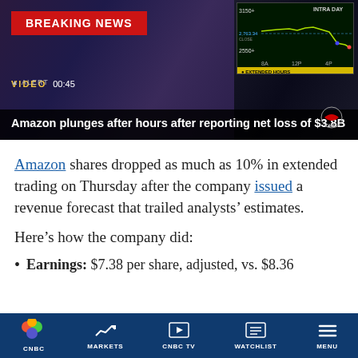[Figure (screenshot): CNBC breaking news video thumbnail showing anchor, stock chart with INTRA DAY label showing 3150+, 2763.34 CLOSE, 2550+ values, with 8A, 12P, 4P time axis and EXTENDED HOURS label. Breaking news red banner overlaid.]
Amazon plunges after hours after reporting net loss of $3.8B
Amazon shares dropped as much as 10% in extended trading on Thursday after the company issued a revenue forecast that trailed analysts' estimates.
Here's how the company did:
Earnings: $7.38 per share, adjusted, vs. $8.36
CNBC | MARKETS | CNBC TV | WATCHLIST | MENU